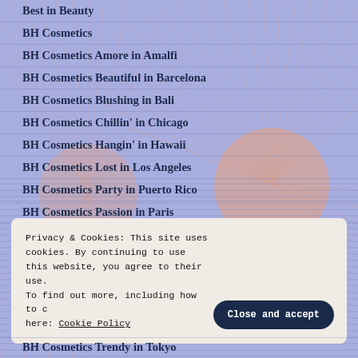Best in Beauty
BH Cosmetics
BH Cosmetics Amore in Amalfi
BH Cosmetics Beautiful in Barcelona
BH Cosmetics Blushing in Bali
BH Cosmetics Chillin' in Chicago
BH Cosmetics Hangin' in Hawaii
BH Cosmetics Lost in Los Angeles
BH Cosmetics Party in Puerto Rico
BH Cosmetics Passion in Paris
Privacy & Cookies: This site uses cookies. By continuing to use this website, you agree to their use. To find out more, including how to control cookies, see here: Cookie Policy
BH Cosmetics Trendy in Tokyo